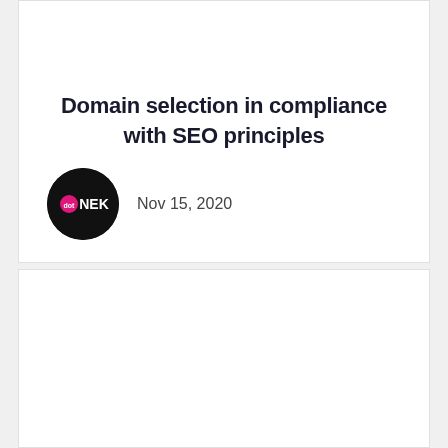Domain selection in compliance with SEO principles
Nov 15, 2020